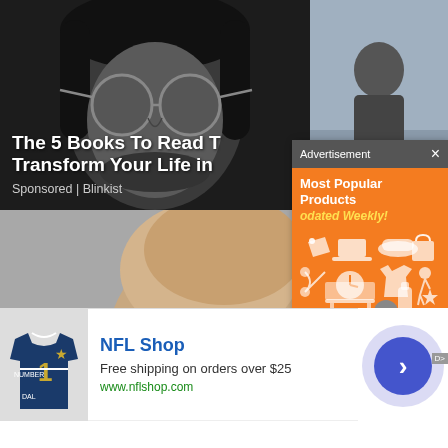[Figure (photo): Black and white close-up photo of a young man with round glasses and long hair]
[Figure (photo): Partial photo of a person on a gray/blue background, right side cropped]
The 5 Books To Read To Transform Your Life in
Sponsored | Blinkist
[Figure (screenshot): Advertisement popup with orange background showing Most Popular Products updated weekly with product icons]
Advertisement ×
Most Popular Products
odated Weekly!
[Figure (photo): Close-up photo of a bald middle-aged man with a neutral expression against a gray background]
[Figure (screenshot): NFL Shop advertisement banner showing a Dallas Cowboys jersey, with text NFL Shop, Free shipping on orders over $25, www.nflshop.com]
NFL Shop
Free shipping on orders over $25
www.nflshop.com